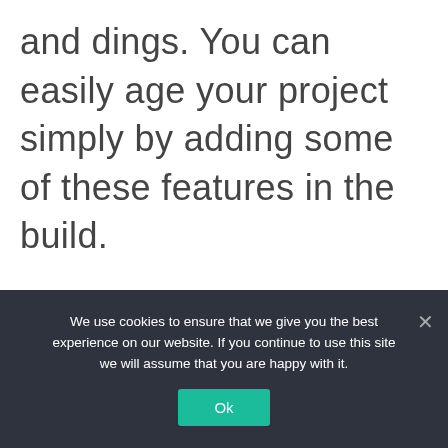and dings. You can easily age your project simply by adding some of these features in the build.
We use cookies to ensure that we give you the best experience on our website. If you continue to use this site we will assume that you are happy with it.